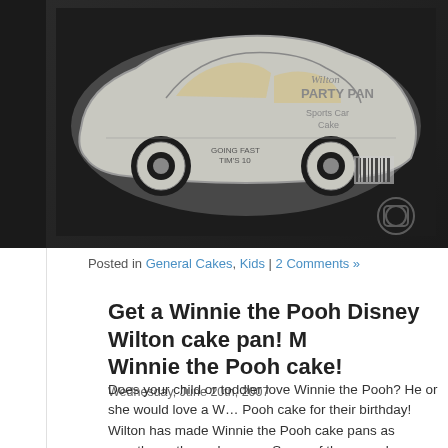[Figure (photo): Photo of a Wilton Party Pan Sports Car Cake aluminum baking pan on a dark background. The pan is shaped like a sports car with a yellow car design inside. Text on the pan reads 'Wilton PARTY PAN Sports Car Cake' and 'GOING FAST TIM'S 10'. A barcode is visible on the right side.]
Posted in General Cakes, Kids | 2 Comments »
Get a Winnie the Pooh Disney Wilton cake pan! M… Winnie the Pooh cake!
Wednesday, June 20th, 2007
Does your child or toddler love Winnie the Pooh? He or she would love a W… Pooh cake for their birthday! Wilton has made Winnie the Pooh cake pans as countless other cake pans. Some of them can be very hard to find, as m discontinued, such as the Winnie the Pooh cake pan. But they can all be…